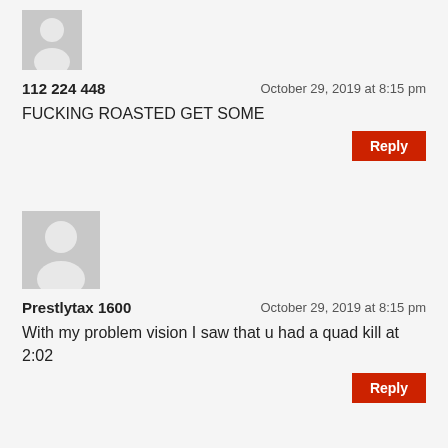[Figure (illustration): Default grey user avatar silhouette (head and shoulders), first comment]
112 224 448
October 29, 2019 at 8:15 pm
FUCKING ROASTED GET SOME
Reply
[Figure (illustration): Default grey user avatar silhouette (head and shoulders), second comment]
Prestlytax 1600
October 29, 2019 at 8:15 pm
With my problem vision I saw that u had a quad kill at 2:02
Reply